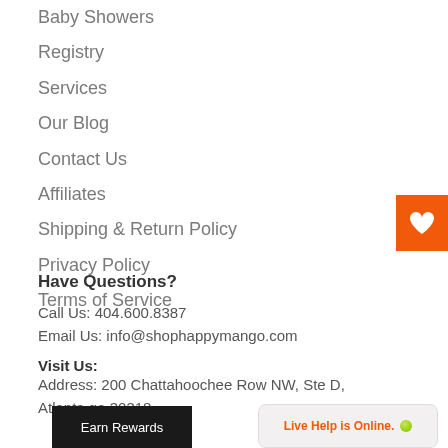Baby Showers
Registry
Services
Our Blog
Contact Us
Affiliates
Shipping & Return Policy
Privacy Policy
Terms of Service
Have Questions?
Call Us: 404.600.8387
Email Us: info@shophappymango.com
Visit Us:
Address: 200 Chattahoochee Row NW, Ste D, Atlanta ga 30318
Earn Rewards
Live Help is Online.